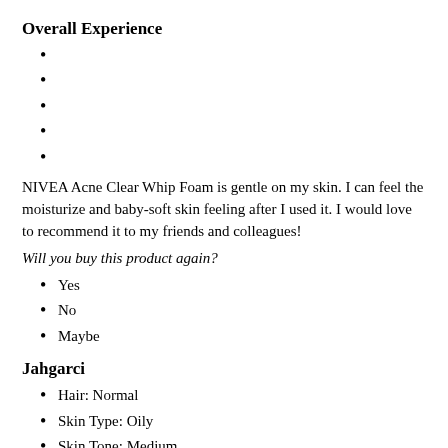Overall Experience
NIVEA Acne Clear Whip Foam is gentle on my skin. I can feel the moisturize and baby-soft skin feeling after I used it. I would love to recommend it to my friends and colleagues!
Will you buy this product again?
Yes
No
Maybe
Jahgarci
Hair: Normal
Skin Type: Oily
Skin Tone: Medium
Gentle on skin